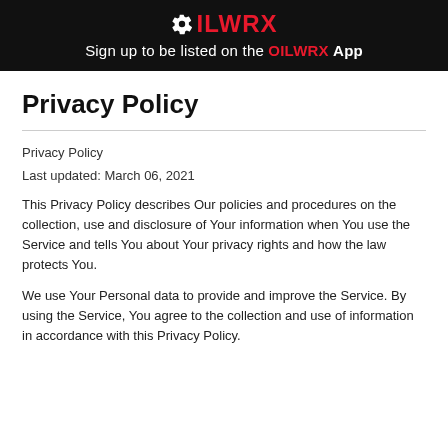OILWRX - Sign up to be listed on the OILWRX App
Privacy Policy
Privacy Policy
Last updated: March 06, 2021
This Privacy Policy describes Our policies and procedures on the collection, use and disclosure of Your information when You use the Service and tells You about Your privacy rights and how the law protects You.
We use Your Personal data to provide and improve the Service. By using the Service, You agree to the collection and use of information in accordance with this Privacy Policy.